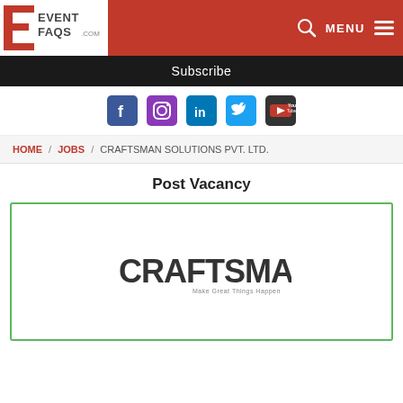[Figure (logo): EventFAQS.com logo with red stylized E and text EVENTFAQS.COM]
MENU
Subscribe
[Figure (infographic): Social media icons: Facebook, Instagram, LinkedIn, Twitter, YouTube]
HOME / JOBS / CRAFTSMAN SOLUTIONS PVT. LTD.
Post Vacancy
[Figure (logo): Craftsman logo with text CRAFTSMAN and tagline Make Great Things Happen]